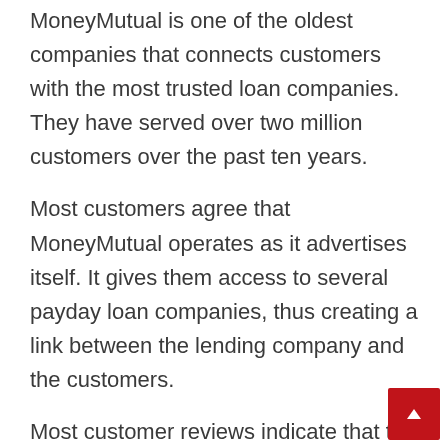MoneyMutual is one of the oldest companies that connects customers with the most trusted loan companies. They have served over two million customers over the past ten years.
Most customers agree that MoneyMutual operates as it advertises itself. It gives them access to several payday loan companies, thus creating a link between the lending company and the customers.
Most customer reviews indicate that the loan companies on MoneyMutual have a transparent lending system with favorable interest rates. Many users also decided to try MoneyMutual after seeing the advertisements on TV.